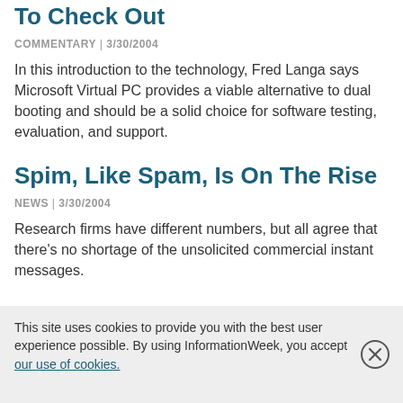To Check Out
COMMENTARY | 3/30/2004
In this introduction to the technology, Fred Langa says Microsoft Virtual PC provides a viable alternative to dual booting and should be a solid choice for software testing, evaluation, and support.
Spim, Like Spam, Is On The Rise
NEWS | 3/30/2004
Research firms have different numbers, but all agree that there's no shortage of the unsolicited commercial instant messages.
This site uses cookies to provide you with the best user experience possible. By using InformationWeek, you accept our use of cookies.